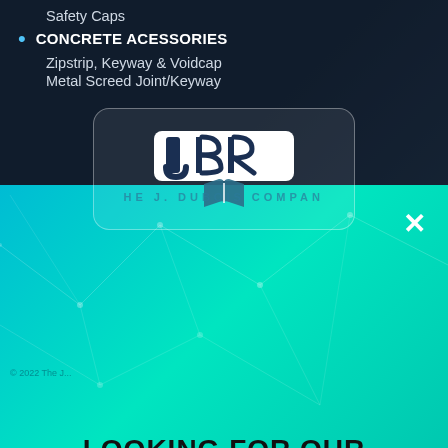Safety Caps
CONCRETE ACESSORIES
Zipstrip, Keyway & Voidcap
Metal Screed Joint/Keyway
[Figure (logo): JBR company logo — stylized letters JBR with an open book icon, displayed in a rounded rectangle overlay]
LOOKING FOR OUR CATALOG?
DOWNLOAD
VIEW ONLINE
© 2022 The ...